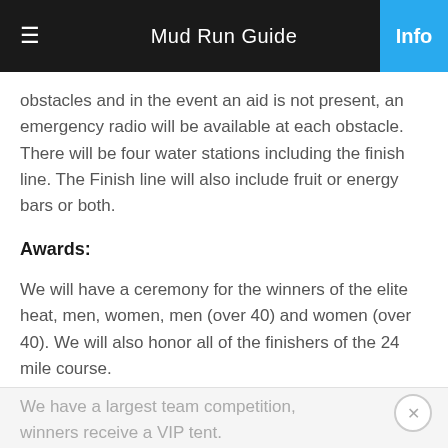Mud Run Guide | Info
obstacles and in the event an aid is not present, an emergency radio will be available at each obstacle. There will be four water stations including the finish line. The Finish line will also include fruit or energy bars or both.
Awards:
We will have a ceremony for the winners of the elite heat, men, women, men (over 40) and women (over 40). We will also honor all of the finishers of the 24 mile course.
Prizes:
We have a largest team competition, winners receive a VIP tent.